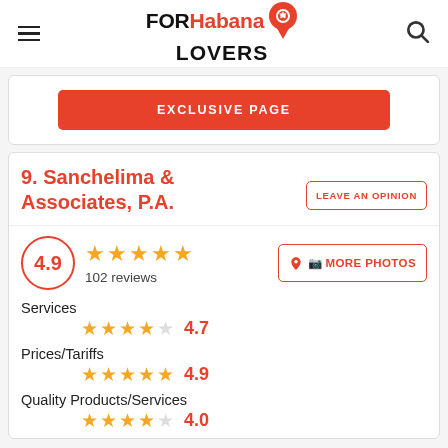FORHabana LOVERS
EXCLUSIVE PAGE
9. Sanchelima & Associates, P.A.
LEAVE AN OPINION
4.9 — 102 reviews
MORE PHOTOS
Services  4.7
Prices/Tariffs  4.9
Quality Products/Services  4.0